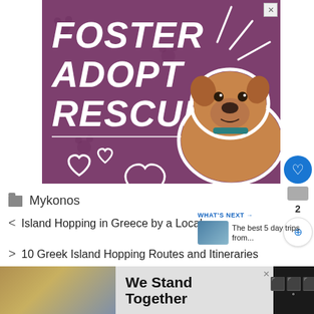[Figure (illustration): Advertisement banner with purple background. Large bold italic white text reads FOSTER ADOPT RESCUE. A photo of a brown pit bull dog with a teal collar is on the right side. White heart outlines and decorative rays are on the banner.]
Mykonos
< Island Hopping in Greece by a Local
> 10 Greek Island Hopping Routes and Itineraries
[Figure (illustration): What's Next panel with a thumbnail image of a boat/sea and text: The best 5 day trips from...]
[Figure (illustration): Bottom advertisement banner: group of people with arms around each other, text reads We Stand Together, with a dark logo on the right.]